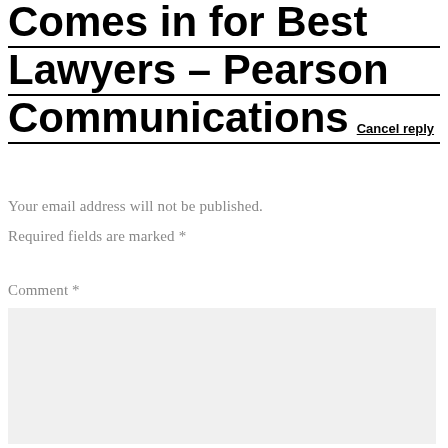Comes in for Best Lawyers – Pearson Communications Cancel reply
Your email address will not be published.
Required fields are marked *
Comment *